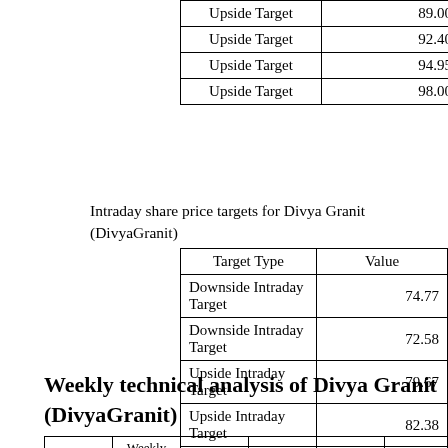| Target Type | Value |
| --- | --- |
| Upside Target | 89.00 |
| Upside Target | 92.40 |
| Upside Target | 94.95 |
| Upside Target | 98.00 |
Intraday share price targets for Divya Granit (DivyaGranit)
| Target Type | Value |
| --- | --- |
| Downside Intraday Target | 74.77 |
| Downside Intraday Target | 72.58 |
| Upside Intraday Target | 79.67 |
| Upside Intraday Target | 82.38 |
| Upside Intraday Target | 77.48 |
Weekly technical analysis of Divya Granit (DivyaGranit)
|  | Weekly |  |  |  |  |
| --- | --- | --- | --- | --- | --- |